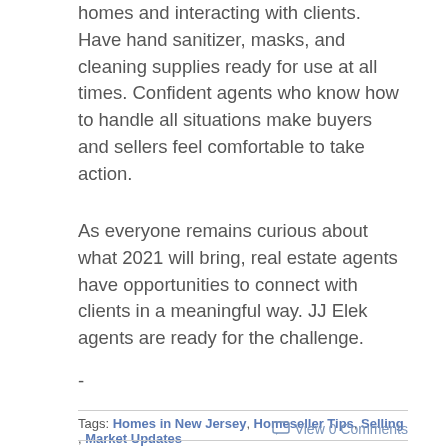homes and interacting with clients. Have hand sanitizer, masks, and cleaning supplies ready for use at all times. Confident agents who know how to handle all situations make buyers and sellers feel comfortable to take action.
As everyone remains curious about what 2021 will bring, real estate agents have opportunities to connect with clients in a meaningful way. JJ Elek agents are ready for the challenge.
-
Tags: Homes in New Jersey, Homeseller Tips, Selling , Market Updates
View 0 Comments